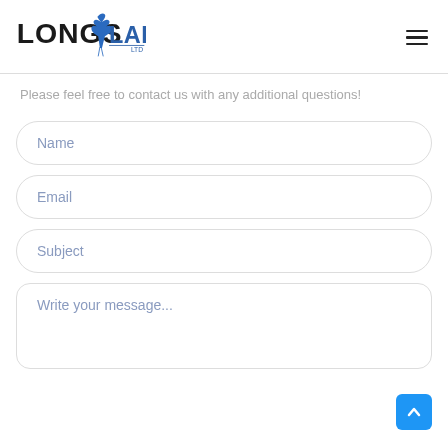LONGS LAKE LTD
Please feel free to contact us with any additional questions!
Name
Email
Subject
Write your message...